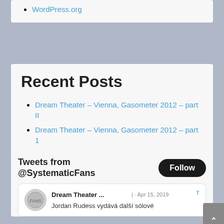WordPress.org
Recent Posts
Dream Theater – Vienna, Gasometer 2012 – part II
Dream Theater – Vienna, Gasometer 2012 – part 1
Masters Of Rock 2014 – Pull Me Under
Masters Of Rock 2014 – Lie
Posters
Tweets from @SystematicFans
Dream Theater ... | · Apr 15, 2019
Jordan Rudess vydává další sólové